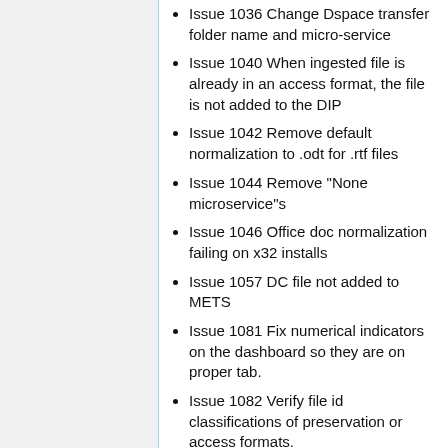Issue 1036 Change Dspace transfer folder name and micro-service
Issue 1040 When ingested file is already in an access format, the file is not added to the DIP
Issue 1042 Remove default normalization to .odt for .rtf files
Issue 1044 Remove "None microservice"s
Issue 1046 Office doc normalization failing on x32 installs
Issue 1057 DC file not added to METS
Issue 1081 Fix numerical indicators on the dashboard so they are on proper tab.
Issue 1082 Verify file id classifications of preservation or access formats.